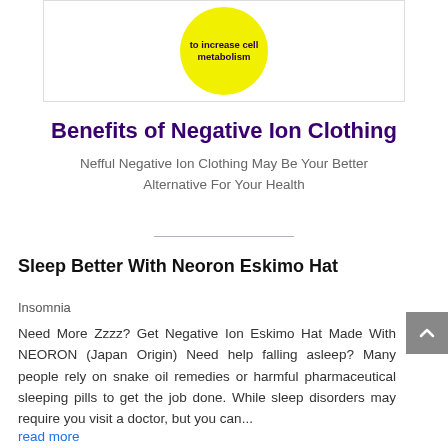[Figure (illustration): Yellow circle with dark purple text 'to increase cell metabolism' inside a white box with a thin border]
Benefits of Negative Ion Clothing
Nefful Negative Ion Clothing May Be Your Better Alternative For Your Health
Sleep Better With Neoron Eskimo Hat
Insomnia
Need More Zzzz? Get Negative Ion Eskimo Hat Made With NEORON (Japan Origin) Need help falling asleep? Many people rely on snake oil remedies or harmful pharmaceutical sleeping pills to get the job done. While sleep disorders may require you visit a doctor, but you can...
read more